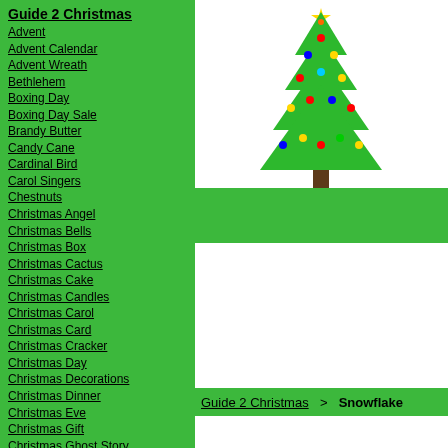Guide 2 Christmas
Advent
Advent Calendar
Advent Wreath
Bethlehem
Boxing Day
Boxing Day Sale
Brandy Butter
Candy Cane
Cardinal Bird
Carol Singers
Chestnuts
Christmas Angel
Christmas Bells
Christmas Box
Christmas Cactus
Christmas Cake
Christmas Candles
Christmas Carol
Christmas Card
Christmas Cracker
Christmas Day
Christmas Decorations
Christmas Dinner
Christmas Eve
Christmas Gift
Christmas Ghost Story
Christmas Ham
Christmas Hamper
[Figure (illustration): Illustrated Christmas tree with colored ornaments and a star on top, on a green background]
Guide 2 Christmas  >  Snowflake